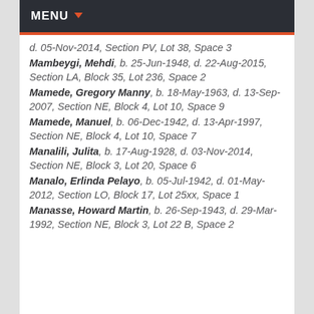MENU
d. 05-Nov-2014, Section PV, Lot 38, Space 3
Mambeygi, Mehdi, b. 25-Jun-1948, d. 22-Aug-2015, Section LA, Block 35, Lot 236, Space 2
Mamede, Gregory Manny, b. 18-May-1963, d. 13-Sep-2007, Section NE, Block 4, Lot 10, Space 9
Mamede, Manuel, b. 06-Dec-1942, d. 13-Apr-1997, Section NE, Block 4, Lot 10, Space 7
Manalili, Julita, b. 17-Aug-1928, d. 03-Nov-2014, Section NE, Block 3, Lot 20, Space 6
Manalo, Erlinda Pelayo, b. 05-Jul-1942, d. 01-May-2012, Section LO, Block 17, Lot 25xx, Space 1
Manasse, Howard Martin, b. 26-Sep-1943, d. 29-Mar-1992, Section NE, Block 3, Lot 22 B, Space 2